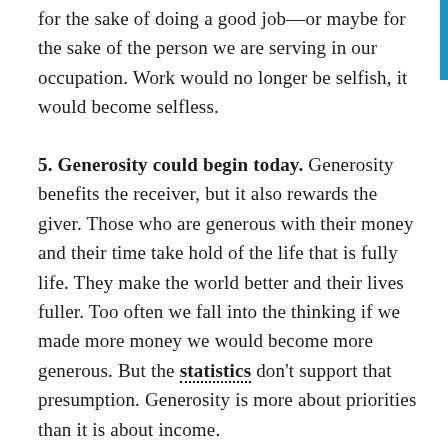for the sake of doing a good job—or maybe for the sake of the person we are serving in our occupation. Work would no longer be selfish, it would become selfless.
5. Generosity could begin today. Generosity benefits the receiver, but it also rewards the giver. Those who are generous with their money and their time take hold of the life that is fully life. They make the world better and their lives fuller. Too often we fall into the thinking if we made more money we would become more generous. But the statistics don't support that presumption. Generosity is more about priorities than it is about income.